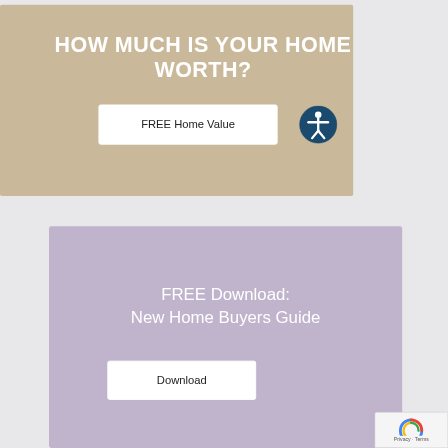HOW MUCH IS YOUR HOME WORTH?
FREE Home Value
[Figure (other): Accessibility icon — circular dark blue button with a white human figure icon]
FREE Download:
New Home Buyers Guide
Download
[Figure (other): Google reCAPTCHA badge with logo and Privacy - Terms text]